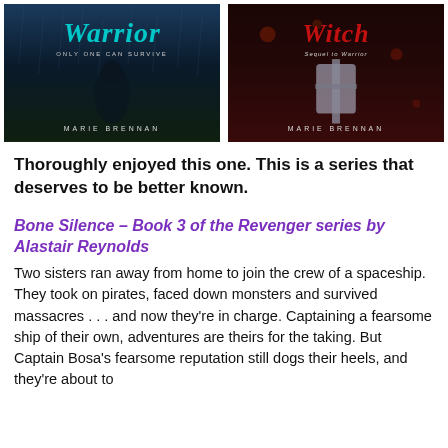[Figure (photo): Two book covers side by side: 'Warrior' by Marie Brennan (left, blue/teal title on dark background with subtitle 'Only one can survive') and 'Witch' by Marie Brennan (right, red title on dark background with subtitle 'Sequel to Warrior')]
Thoroughly enjoyed this one. This is a series that deserves to be better known.
Bone Silence – Book 3 of the Revenger series by Alastair Reynolds
Two sisters ran away from home to join the crew of a spaceship. They took on pirates, faced down monsters and survived massacres . . . and now they're in charge. Captaining a fearsome ship of their own, adventures are theirs for the taking. But Captain Bosa's fearsome reputation still dogs their heels, and they're about to discover that past is never as far away as it seems.